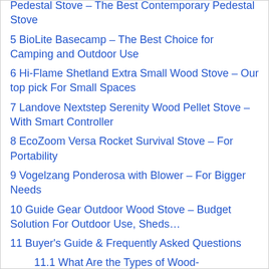Pedestal Stove – The Best Contemporary Pedestal Stove
5 BioLite Basecamp – The Best Choice for Camping and Outdoor Use
6 Hi-Flame Shetland Extra Small Wood Stove – Our top pick For Small Spaces
7 Landove Nextstep Serenity Wood Pellet Stove – With Smart Controller
8 EcoZoom Versa Rocket Survival Stove – For Portability
9 Vogelzang Ponderosa with Blower – For Bigger Needs
10 Guide Gear Outdoor Wood Stove – Budget Solution For Outdoor Use, Sheds…
11 Buyer's Guide & Frequently Asked Questions
11.1 What Are the Types of Wood-